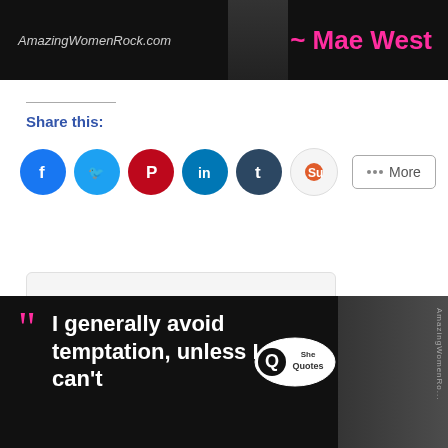[Figure (photo): Black banner with AmazingWomenRock.com text and Mae West name in pink]
Share this:
[Figure (infographic): Social media sharing icons: Facebook, Twitter, Pinterest, LinkedIn, Tumblr, StumbleUpon, More button]
CONTINUE READING
[Figure (photo): Black banner with Mae West quote: I generally avoid temptation, unless I can't, with SheQuotes bubble logo and portrait]